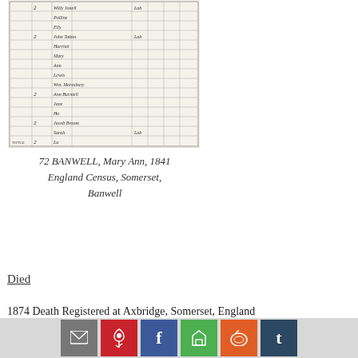[Figure (photo): Scanned 1841 England Census document showing handwritten entries in a columnar register format with rows of names, ages, and occupations written in cursive script]
72 BANWELL, Mary Ann, 1841 England Census, Somerset, Banwell
Died
1874 Death Registered at Axbridge, Somerset, England